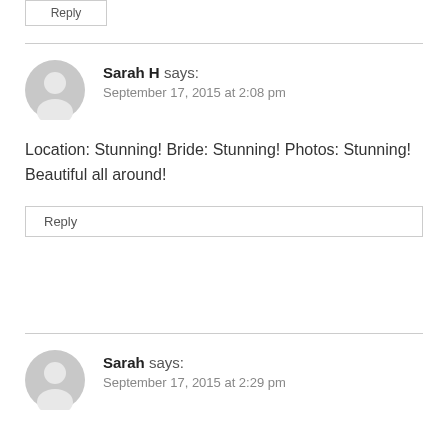Reply
Sarah H says:
September 17, 2015 at 2:08 pm
Location: Stunning! Bride: Stunning! Photos: Stunning! Beautiful all around!
Reply
Sarah says:
September 17, 2015 at 2:29 pm